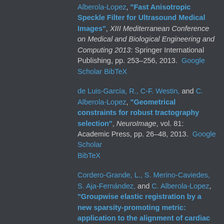Alberola-Lopez, "Fast Anisotropic Speckle Filter for Ultrasound Medical Images", XIII Mediterranean Conference on Medical and Biological Engineering and Computing 2013: Springer International Publishing, pp. 253–256, 2013. Google Scholar BibTeX
de Luis-García, R., C-F. Westin, and C. Alberola-Lopez, "Geometrical constraints for robust tractography selection", NeuroImage, vol. 81: Academic Press, pp. 26–48, 2013. Google Scholar BibTeX
Cordero-Grande, L., S. Merino-Caviedes, S. Aja-Fernández, and C. Alberola-Lopez, "Groupwise elastic registration by a new sparsity-promoting metric: application to the alignment of cardiac magnetic resonance perfusion images", Pattern Analysis and Machine Intelligence, IEEE Transactions on, vol. 35, no. 11: IEEE, pp. 2638–2650, 2013. Google Scholar BibTeX